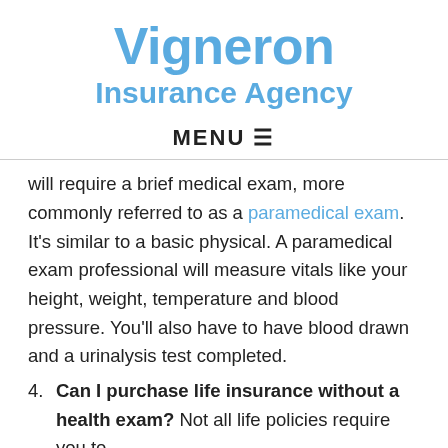Vigneron
Insurance Agency
MENU ☰
will require a brief medical exam, more commonly referred to as a paramedical exam. It's similar to a basic physical. A paramedical exam professional will measure vitals like your height, weight, temperature and blood pressure. You'll also have to have blood drawn and a urinalysis test completed.
4. Can I purchase life insurance without a health exam? Not all life policies require you to